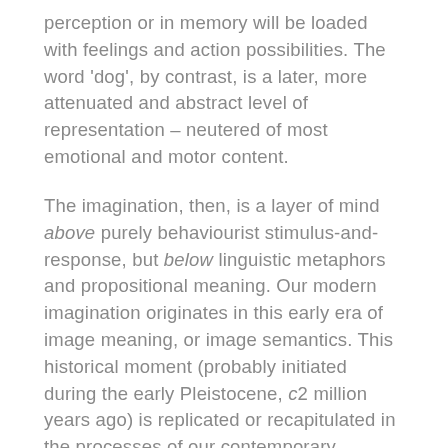perception or in memory will be loaded with feelings and action possibilities. The word 'dog', by contrast, is a later, more attenuated and abstract level of representation – neutered of most emotional and motor content.
The imagination, then, is a layer of mind above purely behaviourist stimulus-and-response, but below linguistic metaphors and propositional meaning. Our modern imagination originates in this early era of image meaning, or image semantics. This historical moment (probably initiated during the early Pleistocene, c2 million years ago) is replicated or recapitulated in the processes of our contemporary imaginative activities. It is the power to take the mind offline – decoupled from the immediate flow of